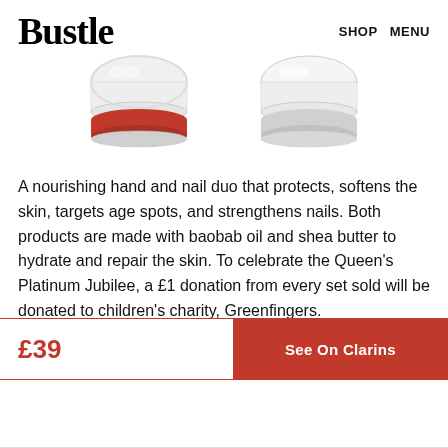Bustle  SHOP  MENU
[Figure (photo): Two Clarins hand and nail cream jars side by side — left jar has a red lid, right jar has a clear/white lid]
A nourishing hand and nail duo that protects, softens the skin, targets age spots, and strengthens nails. Both products are made with baobab oil and shea butter to hydrate and repair the skin. To celebrate the Queen's Platinum Jubilee, a £1 donation from every set sold will be donated to children's charity, Greenfingers.
£39
See On Clarins